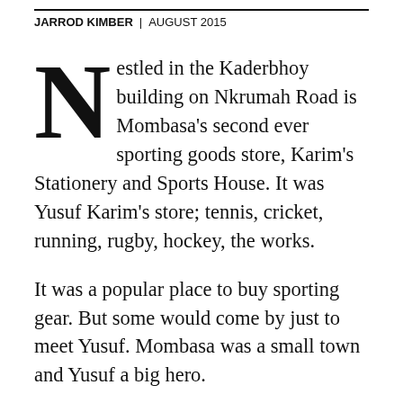JARROD KIMBER | AUGUST 2015
Nestled in the Kaderbhoy building on Nkrumah Road is Mombasa's second ever sporting goods store, Karim's Stationery and Sports House. It was Yusuf Karim's store; tennis, cricket, running, rugby, hockey, the works.
It was a popular place to buy sporting gear. But some would come by just to meet Yusuf. Mombasa was a small town and Yusuf a big hero.
One photo is enough to understand why: hair pomaded to one side, the crisp white shirt and a